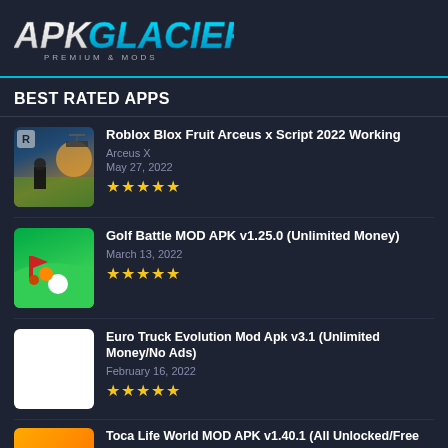APK GLACIER - PREMIUM & MODS
BEST RATED APPS
Roblox Blox Fruit Arceus x Script 2022 Working | Arceus X | May 27, 2022 | ★★★★★
Golf Battle MOD APK v1.25.0 (Unlimited Money) | March 13, 2022 | ★★★★★
Euro Truck Evolution Mod Apk v3.1 (Unlimited Money/No Ads) | February 16, 2022 | ★★★★★
Toca Life World MOD APK v1.40.1 (All Unlocked/Free